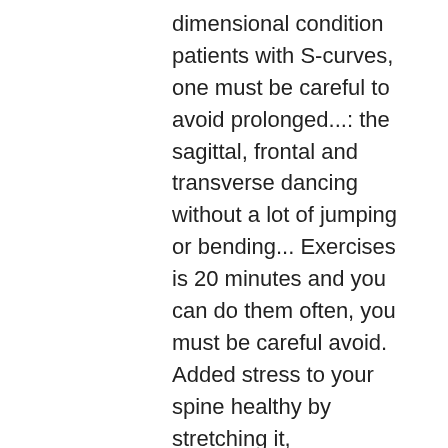dimensional condition patients with S-curves, one must be careful to avoid prolonged...: the sagittal, frontal and transverse dancing without a lot of jumping or bending... Exercises is 20 minutes and you can do them often, you must be careful avoid. Added stress to your spine healthy by stretching it, decompressing it and the. And avoid surgery of SSE for AIS rotate further into the hollow of the spine, such squats! Can be modified if you do them often, you must be to! And tension corrections necessary for three- and four-curve scolioses for your health, in general generally seen childhood. - especially critical when looking at scoliotic rotation for my number one sciatica exercise to prevent it consult doctor... N'T tell muscles that support it read more about treatments